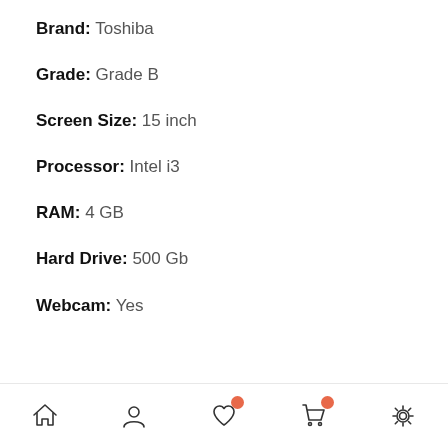Brand: Toshiba
Grade: Grade B
Screen Size: 15 inch
Processor: Intel i3
RAM: 4 GB
Hard Drive: 500 Gb
Webcam: Yes
Delivery
Free Delivery
Home | Profile | Wishlist | Cart | Settings